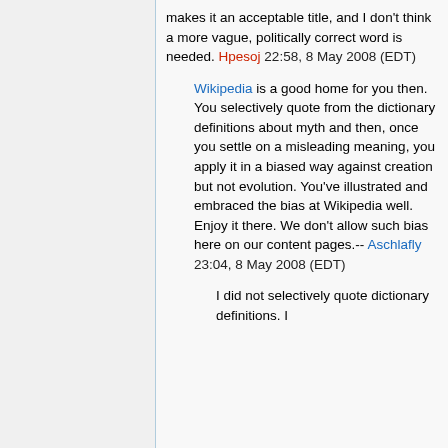makes it an acceptable title, and I don't think a more vague, politically correct word is needed. Hpesoj 22:58, 8 May 2008 (EDT)
Wikipedia is a good home for you then. You selectively quote from the dictionary definitions about myth and then, once you settle on a misleading meaning, you apply it in a biased way against creation but not evolution. You've illustrated and embraced the bias at Wikipedia well. Enjoy it there. We don't allow such bias here on our content pages.-- Aschlafly 23:04, 8 May 2008 (EDT)
I did not selectively quote dictionary definitions. I